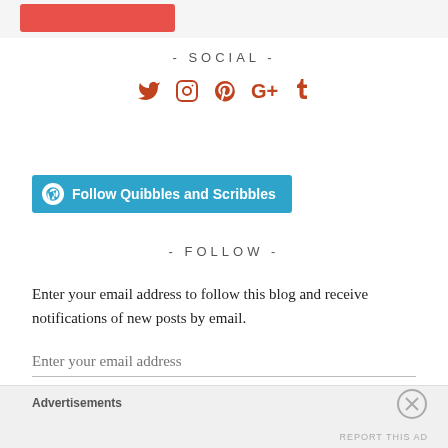- SOCIAL -
[Figure (infographic): Social media icons: Twitter, Instagram, Pinterest, Google+, Tumblr in orange/brown color]
[Figure (infographic): Follow Quibbles and Scribbles button in teal/blue with WordPress icon]
- FOLLOW -
Enter your email address to follow this blog and receive notifications of new posts by email.
Enter your email address
Advertisements